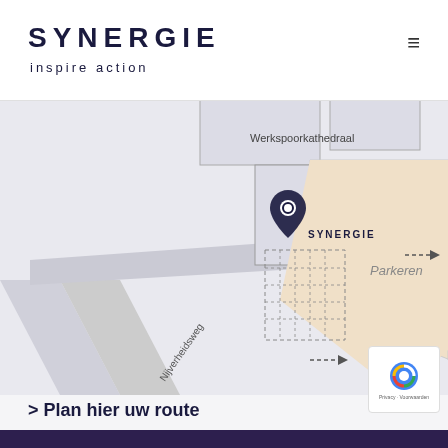SYNERGIE inspire action
[Figure (map): Street map showing Werkspoorkathedraal location with SYNERGIE pin marker, Nijverheidsweg street label, parking area (Parkeren) highlighted in beige/cream color, dashed route arrows]
> Plan hier uw route